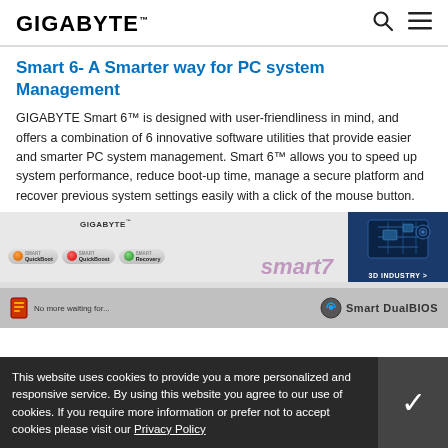GIGABYTE
Smart 6- A Smarter way for PC system Management
GIGABYTE Smart 6™ is designed with user-friendliness in mind, and offers a combination of 6 innovative software utilities that provide easier and smarter PC system management. Smart 6™ allows you to speed up system performance, reduce boot-up time, manage a secure platform and recover previous system settings easily with a click of the mouse button.
[Figure (screenshot): Gigabyte Smart 6 software interface showing Smart QuickBoot, Smart QuickBoost, and Smart Recovery buttons in a rounded pill UI, with a GIGABYTE branded panel and an industrial/3D Industry promotional panel on the right.]
This website uses cookies to provide you a more personalized and responsive service. By using this website you agree to our use of cookies. If you require more information or prefer not to accept cookies please visit our Privacy Policy
[Figure (screenshot): Smart DualBIOS logo and 'No more waiting for...' text visible in the bottom portion of the page, partially obscured by cookie banner.]